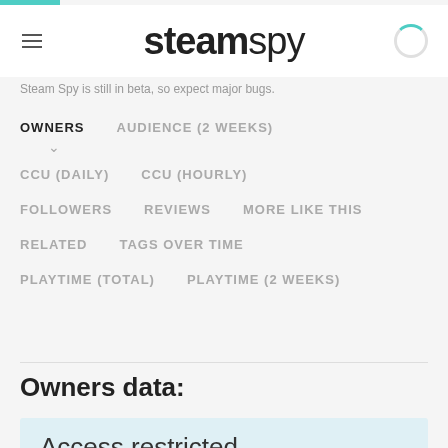steamspy
Steam Spy is still in beta, so expect major bugs.
OWNERS
AUDIENCE (2 WEEKS)
CCU (DAILY)
CCU (HOURLY)
FOLLOWERS
REVIEWS
MORE LIKE THIS
RELATED
TAGS OVER TIME
PLAYTIME (TOTAL)
PLAYTIME (2 WEEKS)
Owners data:
Access restricted.